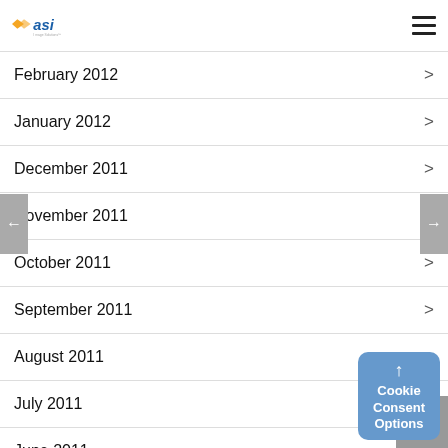ASI logo and navigation menu
February 2012
January 2012
December 2011
November 2011
October 2011
September 2011
August 2011
July 2011
June 2011
May 2011